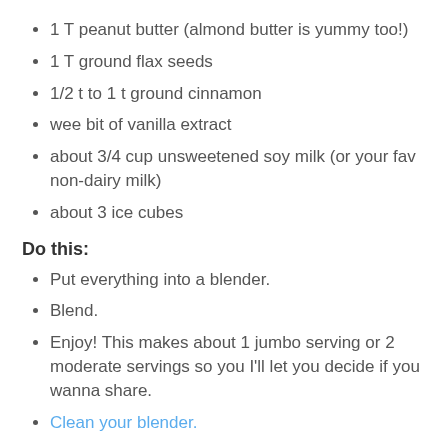1 T peanut butter (almond butter is yummy too!)
1 T ground flax seeds
1/2 t to 1 t ground cinnamon
wee bit of vanilla extract
about 3/4 cup unsweetened soy milk (or your fav non-dairy milk)
about 3 ice cubes
Do this:
Put everything into a blender.
Blend.
Enjoy! This makes about 1 jumbo serving or 2 moderate servings so you I'll let you decide if you wanna share.
Clean your blender.
I wanna mention that I'm hosting a giveaway with EcoJarz. Win a BPA-free stainless steel lid and straw that turns any mason jar into an easy to use to-go cup. How awesome